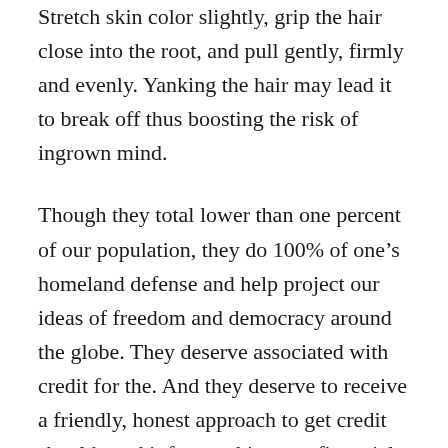Stretch skin color slightly, grip the hair close into the root, and pull gently, firmly and evenly. Yanking the hair may lead it to break off thus boosting the risk of ingrown mind.
Though they total lower than one percent of our population, they do 100% of one’s homeland defense and help project our ideas of freedom and democracy around the globe. They deserve associated with credit for the. And they deserve to receive a friendly, honest approach to get credit should need it for anything at a financial emergency to creating a big-ticket purchase – no credit check military loans.
A auto title loan is 1 of your limited options if have got credit tribulations. For better or worse, many traditional